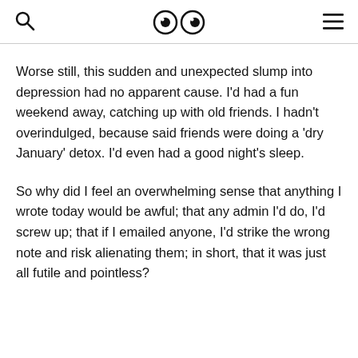search | eyes logo | hamburger menu
Worse still, this sudden and unexpected slump into depression had no apparent cause. I'd had a fun weekend away, catching up with old friends. I hadn't overindulged, because said friends were doing a 'dry January' detox. I'd even had a good night's sleep.
So why did I feel an overwhelming sense that anything I wrote today would be awful; that any admin I'd do, I'd screw up; that if I emailed anyone, I'd strike the wrong note and risk alienating them; in short, that it was just all futile and pointless?